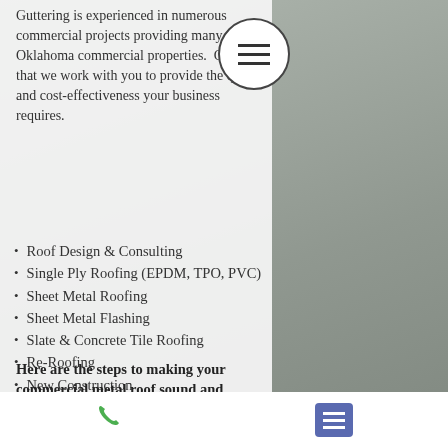Guttering is experienced in numerous commercial projects providing many Oklahoma commercial properties.  Call us that we work with you to provide the quality and cost-effectiveness your business requires.
Roof Design & Consulting
Single Ply Roofing (EPDM, TPO, PVC)
Sheet Metal Roofing
Sheet Metal Flashing
Slate & Concrete Tile Roofing
Re-Roofing
New Construction
Service Contracts
24-Hour Emergency Service
Here are the steps to making your commercial metal roof sound and systemproof: